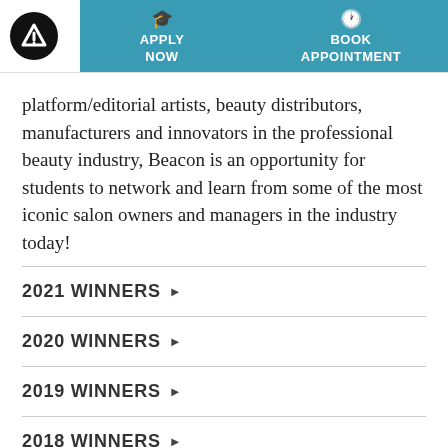APPLY NOW | BOOK APPOINTMENT
platform/editorial artists, beauty distributors, manufacturers and innovators in the professional beauty industry, Beacon is an opportunity for students to network and learn from some of the most iconic salon owners and managers in the industry today!
2021 WINNERS ▶
2020 WINNERS ▶
2019 WINNERS ▶
2018 WINNERS ▶